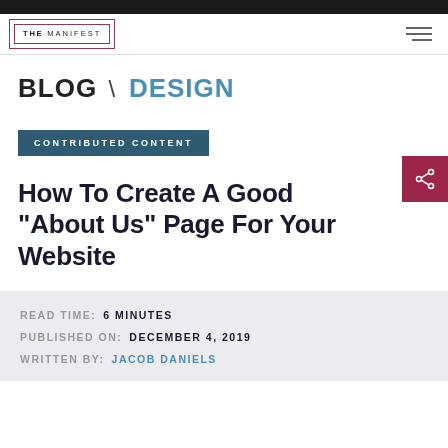THE MANIFEST
BLOG \ DESIGN
CONTRIBUTED CONTENT
How To Create A Good "About Us" Page For Your Website
READ TIME: 6 MINUTES
PUBLISHED ON: DECEMBER 4, 2019
WRITTEN BY: JACOB DANIELS